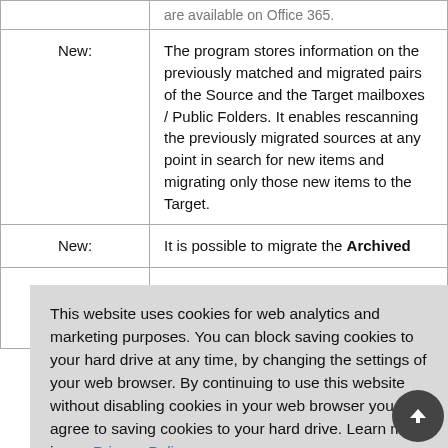|  |  |
| --- | --- |
|  | are available on Office 365. |
| New: | The program stores information on the previously matched and migrated pairs of the Source and the Target mailboxes / Public Folders. It enables rescanning the previously migrated sources at any point in search for new items and migrating only those new items to the Target. |
| New: | It is possible to migrate the Archived ... |
|  | source server connection wizard. |
This website uses cookies for web analytics and marketing purposes. You can block saving cookies to your hard drive at any time, by changing the settings of your web browser. By continuing to use this website without disabling cookies in your web browser you agree to saving cookies to your hard drive. Learn more in our Privacy Policy.